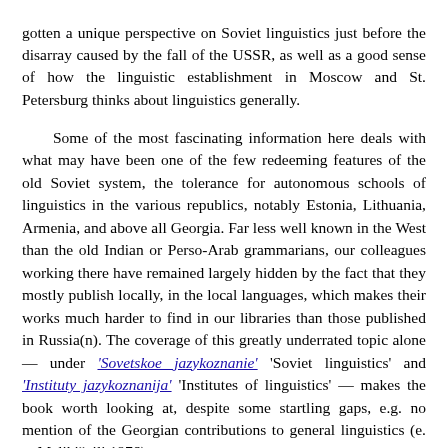gotten a unique perspective on Soviet linguistics just before the disarray caused by the fall of the USSR, as well as a good sense of how the linguistic establishment in Moscow and St. Petersburg thinks about linguistics generally.

Some of the most fascinating information here deals with what may have been one of the few redeeming features of the old Soviet system, the tolerance for autonomous schools of linguistics in the various republics, notably Estonia, Lithuania, Armenia, and above all Georgia. Far less well known in the West than the old Indian or Perso-Arab grammarians, our colleagues working there have remained largely hidden by the fact that they mostly publish locally, in the local languages, which makes their works much harder to find in our libraries than those published in Russia(n). The coverage of this greatly underrated topic alone — under 'Sovetskoe jazykoznanie' 'Soviet linguistics' and 'Instituty jazykoznanija' 'Institutes of linguistics' — makes the book worth looking at, despite some startling gaps, e.g. no mention of the Georgian contributions to general linguistics (e. g. Melikišvili 1976).